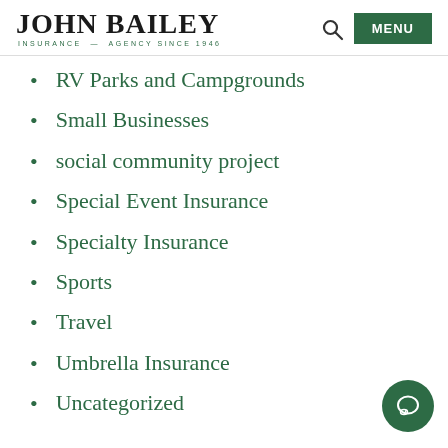[Figure (logo): John Bailey Insurance Agency Since 1946 logo]
RV Parks and Campgrounds
Small Businesses
social community project
Special Event Insurance
Specialty Insurance
Sports
Travel
Umbrella Insurance
Uncategorized